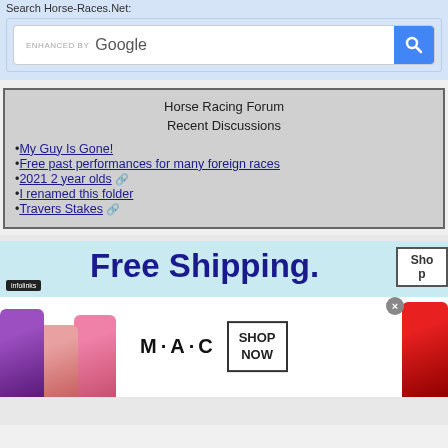Search Horse-Races.Net:
[Figure (screenshot): Google search bar with blue search button, labeled 'ENHANCED BY Google']
Horse Racing Forum
Recent Discussions
My Guy Is Gone!
Free past performances for many foreign races
2021 2 year olds
I renamed this folder
Travers Stakes
[Figure (screenshot): Advertisement banner with 'Free Shipping.' text in blue, infolinks badge, and a Shop button]
[Figure (photo): MAC cosmetics advertisement showing lipsticks in purple, pink, and red colors with 'M·A·C' logo and 'SHOP NOW' button]